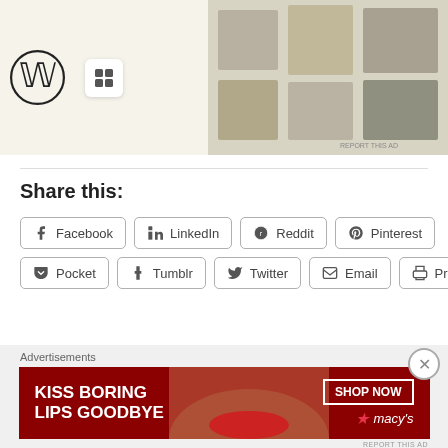[Figure (screenshot): Top advertisement banner with WordPress logo, Squarespace logo, and food/recipe images on right side. 'REPORT THIS AD' text at bottom right.]
Share this:
Facebook
LinkedIn
Reddit
Pinterest
Pocket
Tumblr
Twitter
Email
Print
[Figure (infographic): Like button with star icon, followed by 6 blogger avatar thumbnails and a key icon]
7 bloggers like this.
March 27, 2020
[Figure (screenshot): Bottom advertisement: Macy's 'KISS BORING LIPS GOODBYE' cosmetics ad with red background, woman's face, SHOP NOW button.]